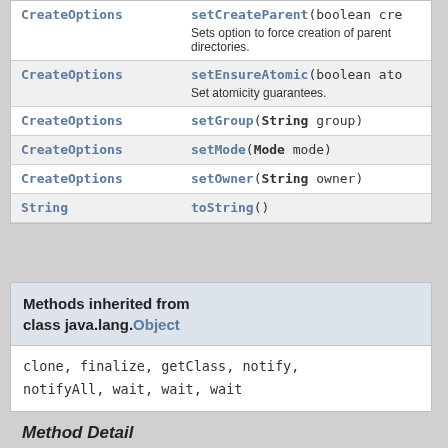| Return Type | Method |
| --- | --- |
| CreateOptions | setCreateParent(boolean cre...
Sets option to force creation of parent directories. |
| CreateOptions | setEnsureAtomic(boolean ato...
Set atomicity guarantees. |
| CreateOptions | setGroup(String group) |
| CreateOptions | setMode(Mode mode) |
| CreateOptions | setOwner(String owner) |
| String | toString() |
Methods inherited from class java.lang.Object
clone, finalize, getClass, notify, notifyAll, wait, wait, wait
Method Detail